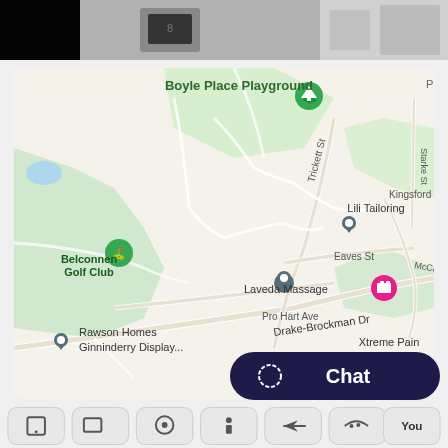[Figure (photo): Top photo strip showing a dark device/electronics in grayscale]
[Figure (map): Google Maps screenshot showing Belconnen area in Canberra, Australia. Landmarks include: Boyle Place Playground, Belconnen Golf Club, Laveda Massage, Lili Tailoring, Kingsford Smith, Rawson Homes Ginninderry Display, Xtreme Pain & Decora. Streets include Pro Hart Ave, Trickett St, Drake-Brockman Dr, Eaves St, McCabe Cres, Starke St.]
[Figure (screenshot): Chat button (dark navy pill shape) with 'Chat' text and circle icon, plus a bottom toolbar with rounded icon buttons including 'You' label]